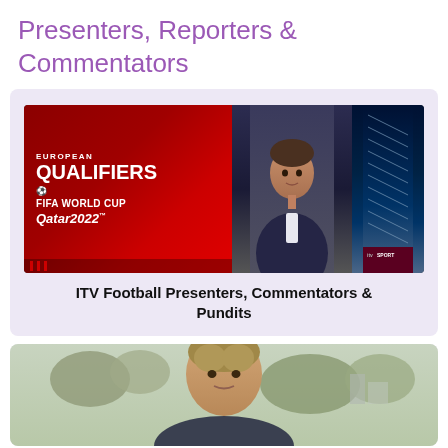Presenters, Reporters & Commentators
[Figure (photo): ITV Sport studio with presenter at desk, European Qualifiers FIFA World Cup Qatar 2022 branding on left, stadium seats on right]
ITV Football Presenters, Commentators & Pundits
[Figure (photo): Man outdoors with trees and buildings in background]